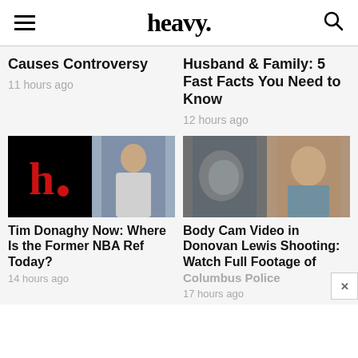heavy.
Causes Controversy
11 hours ago
Husband & Family: 5 Fast Facts You Need to Know
12 hours ago
[Figure (photo): Two-panel image: left panel shows heavy. logo (red 'h.' on black background), right panel shows a man in gray hoodie at an event backdrop]
Tim Donaghy Now: Where Is the Former NBA Ref Today?
14 hours ago
[Figure (photo): Two-panel image: left panel shows machinery/engine part, right panel shows a young man's face]
Body Cam Video in Donovan Lewis Shooting: Watch Full Footage of
Columbus Police
17 hours ago